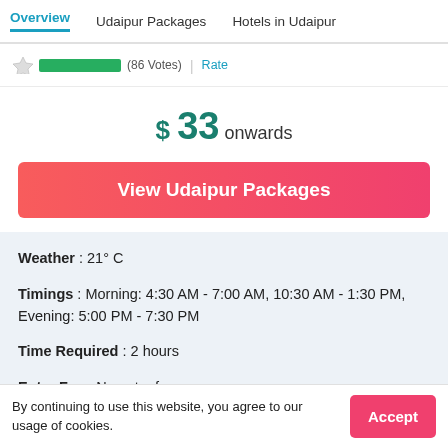Overview | Udaipur Packages | Hotels in Udaipur
(86 Votes) Rate
$ 33 onwards
View Udaipur Packages
Weather : 21° C
Timings : Morning: 4:30 AM - 7:00 AM, 10:30 AM - 1:30 PM, Evening: 5:00 PM - 7:30 PM
Time Required : 2 hours
Entry Fee : No entry fee
By continuing to use this website, you agree to our usage of cookies.